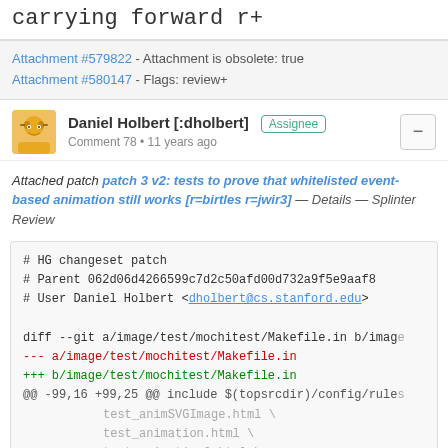carrying forward r+
Attachment #579822 - Attachment is obsolete: true
Attachment #580147 - Flags: review+
Daniel Holbert [:dholbert] Assignee
Comment 78 • 11 years ago
Attached patch patch 3 v2: tests to prove that whitelisted event-based animation still works [r=birtles r=jwir3] — Details — Splinter Review
# HG changeset patch
# Parent 062d06d4266599c7d2c50afd00d732a9f5e9aaf8
# User Daniel Holbert <dholbert@cs.stanford.edu>

diff --git a/image/test/mochitest/Makefile.in b/imag
--- a/image/test/mochitest/Makefile.in
+++ b/image/test/mochitest/Makefile.in
@@ -99,16 +99,25 @@ include $(topsrcdir)/config/rules
                  test_animSVGImage.html \
                  test_animation.html \
                  test_animation2.html \
                  animated...